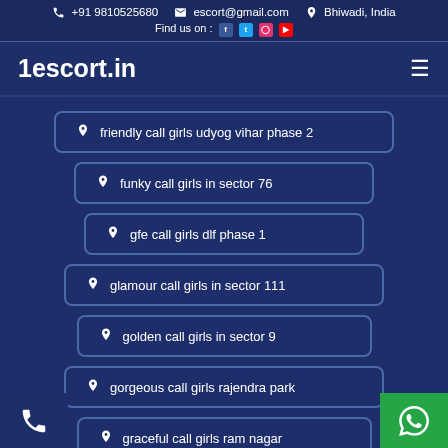+91 9810525680  escort@gmail.com  Bhiwadi, India  Find us on : f tw ig yt
1escort.in
friendly call girls udyog vihar phase 2
funky call girls in sector 76
gfe call girls dlf phase 1
glamour call girls in sector 111
golden call girls in sector 9
gorgeous call girls rajendra park
graceful call girls ram nagar